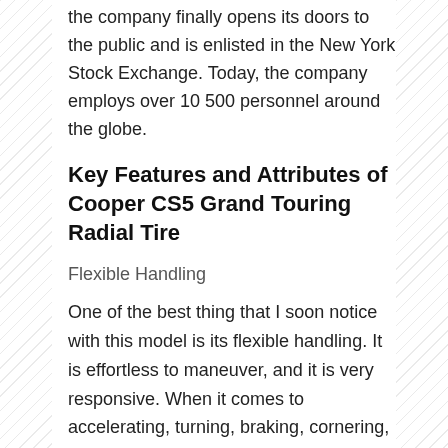the company finally opens its doors to the public and is enlisted in the New York Stock Exchange. Today, the company employs over 10 500 personnel around the globe.
Key Features and Attributes of Cooper CS5 Grand Touring Radial Tire
Flexible Handling
One of the best thing that I soon notice with this model is its flexible handling. It is effortless to maneuver, and it is very responsive. When it comes to accelerating, turning, braking, cornering, and steering, I am honestly impressed with its capacity.